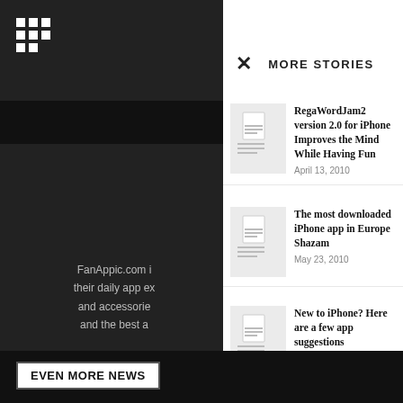[Figure (screenshot): Grid/apps icon in top left of dark sidebar]
FanAppic.com i their daily app ex and accessorie and the best a
MORE STORIES
RegaWordJam2 version 2.0 for iPhone Improves the Mind While Having Fun
April 13, 2010
The most downloaded iPhone app in Europe Shazam
May 23, 2010
New to iPhone? Here are a few app suggestions
June 7, 2010
EVEN MORE NEWS